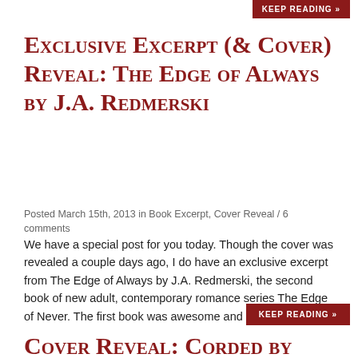KEEP READING »
Exclusive Excerpt (& Cover) Reveal: The Edge of Always by J.A. Redmerski
Posted March 15th, 2013 in Book Excerpt, Cover Reveal / 6 comments
We have a special post for you today. Though the cover was revealed a couple days ago, I do have an exclusive excerpt from The Edge of Always by J.A. Redmerski, the second book of new adult, contemporary romance series The Edge of Never. The first book was awesome and I [...]
KEEP READING »
Cover Reveal: Corded by